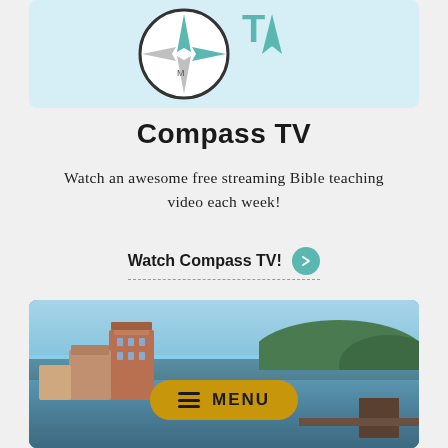[Figure (illustration): Compass TV logo graphic with compass rose and TV arrow shapes on light blue background]
Compass TV
Watch an awesome free streaming Bible teaching video each week!
Watch Compass TV!
[Figure (photo): Lakeside town photo with resort buildings, forested hills, lake water, and dock area. Menu button overlay with hamburger icon and MENU text in gold/yellow rounded pill button.]